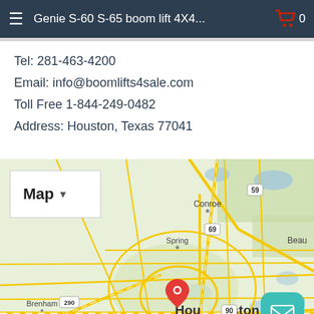Genie S-60 S-65 boom lift 4X4...
Tel: 281-463-4200
Email: info@boomlifts4sale.com
Toll Free 1-844-249-0482
Address: Houston, Texas 77041
[Figure (map): Google Map showing Houston, Texas area with a red location pin marking Houston. Map shows surrounding areas including Conroe, Spring, Katy, Sugar Land, Pearland, Brenham, and Beaumont direction. Roads and highways visible including 290, 90, 10, 59, 69, 45. A Map dropdown selector and an email (envelope) button overlay the map.]